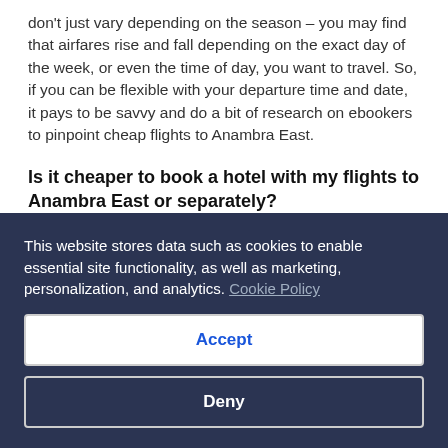don't just vary depending on the season – you may find that airfares rise and fall depending on the exact day of the week, or even the time of day, you want to travel. So, if you can be flexible with your departure time and date, it pays to be savvy and do a bit of research on ebookers to pinpoint cheap flights to Anambra East.
Is it cheaper to book a hotel with my flights to Anambra East or separately?
Yes, it may be worth saving time and cash by booking your Anambra East hotel at the same time as your flights, because you can get up to 15% off the total price when you do this through ebookers.com. If you need help deciding on where to stay, ebookers.com's hotel descriptions will come in handy.
This website stores data such as cookies to enable essential site functionality, as well as marketing, personalization, and analytics. Cookie Policy